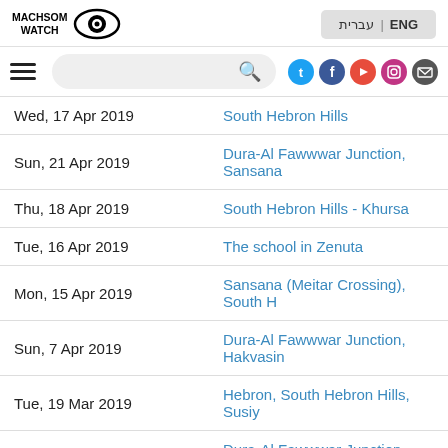MACHSOM WATCH logo and language switcher ENG | עברית
[Figure (screenshot): Navigation bar with hamburger menu, search box, and social media icons (Twitter, Facebook, YouTube, Instagram, Email)]
| Date | Location |
| --- | --- |
| Wed, 17 Apr 2019 | South Hebron Hills |
| Sun, 21 Apr 2019 | Dura-Al Fawwwar Junction, Sansana |
| Thu, 18 Apr 2019 | South Hebron Hills - Khursa |
| Tue, 16 Apr 2019 | The school in Zenuta |
| Mon, 15 Apr 2019 | Sansana (Meitar Crossing), South H |
| Sun, 7 Apr 2019 | Dura-Al Fawwwar Junction, Hakvasin |
| Tue, 19 Mar 2019 | Hebron, South Hebron Hills, Susiy |
| Thu, 28 Mar 2019 | Dura-Al Fawwwar Junction, Sansana |
| Thu, 4 Apr 2019 | Zenuta - demolition order to the s |